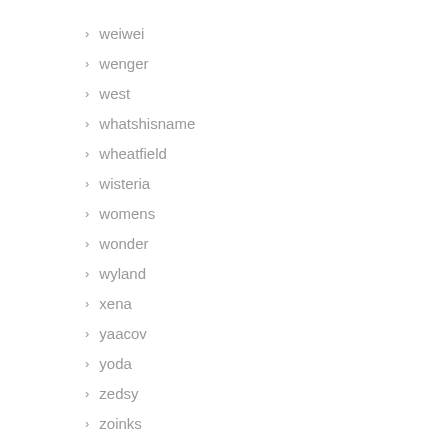weiwei
wenger
west
whatshisname
wheatfield
wisteria
womens
wonder
wyland
xena
yaacov
yoda
zedsy
zoinks